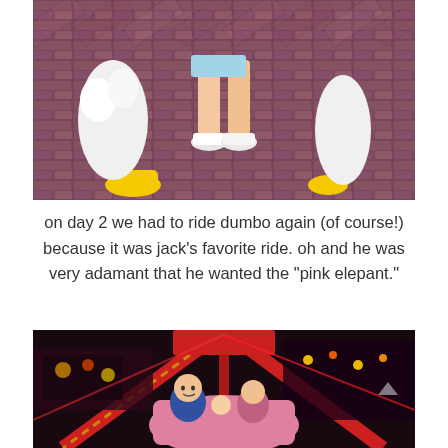[Figure (photo): Close-up photo of a child's legs and white sneakers on a red/purple herringbone brick pavement, next to what appears to be a Donald Duck character costume (yellow shoes and white feathery body visible).]
on day 2 we had to ride dumbo again (of course!) because it was jack's favorite ride. oh and he was very adamant that he wanted the "pink elepant."
[Figure (photo): Nighttime photo on the Dumbo ride at Disneyland showing a family (man, woman, and small child) seated in a pink elephant ride car, with colorful carnival lighting and circus-themed decorations in the background.]